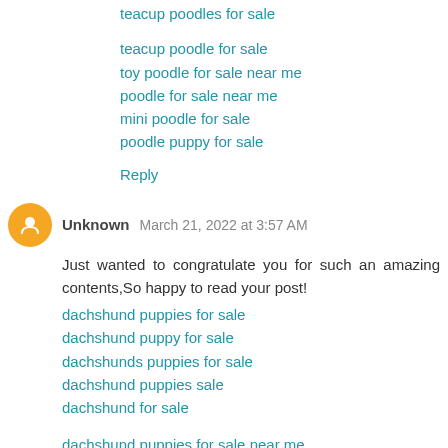teacup poodles for sale
teacup poodle for sale
toy poodle for sale near me
poodle for sale near me
mini poodle for sale
poodle puppy for sale
Reply
Unknown  March 21, 2022 at 3:57 AM
Just wanted to congratulate you for such an amazing contents,So happy to read your post!
dachshund puppies for sale
dachshund puppy for sale
dachshunds puppies for sale
dachshund puppies sale
dachshund for sale
dachshund puppies for sale near me
dachshunds for sale
mini dachshund puppy for sale